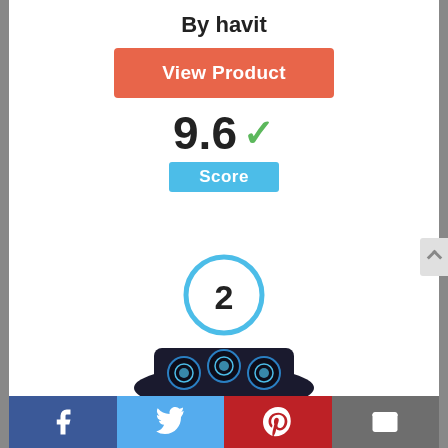By havit
View Product
9.6 ✓
Score
[Figure (infographic): A blue outlined circle badge containing the number 2, indicating rank #2]
[Figure (photo): Partial view of a dark laptop cooling pad with blue LED fans]
Facebook | Twitter | Pinterest | Mail